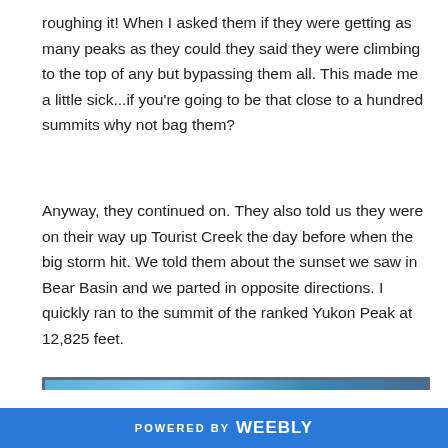roughing it! When I asked them if they were getting as many peaks as they could they said they were climbing to the top of any but bypassing them all. This made me a little sick...if you're going to be that close to a hundred summits why not bag them?
Anyway, they continued on. They also told us they were on their way up Tourist Creek the day before when the big storm hit. We told them about the sunset we saw in Bear Basin and we parted in opposite directions. I quickly ran to the summit of the ranked Yukon Peak at 12,825 feet.
[Figure (photo): Partial view of a photograph showing a blue sky scene, likely a mountain or landscape photo, partially cropped at bottom of page]
POWERED BY Weebly